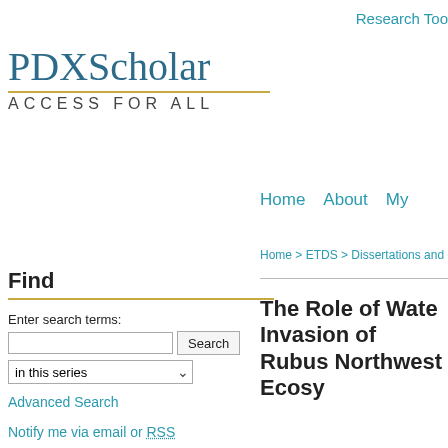Research Too
PDXScholar
ACCESS FOR ALL
Home   About   My
Home > ETDS > Dissertations and
Find
Enter search terms:
in this series
Advanced Search
Notify me via email or RSS
Featured Collections
The Role of Wate Invasion of Rubus Northwest Ecosy